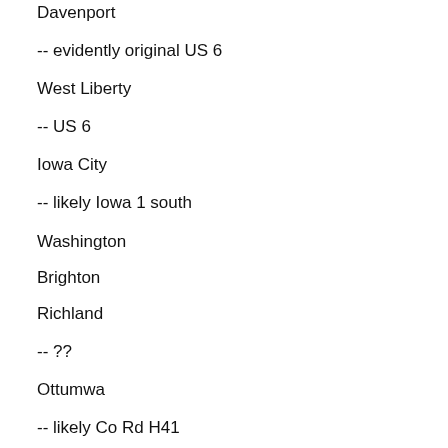Davenport
-- evidently original US 6
West Liberty
-- US 6
Iowa City
-- likely Iowa 1 south
Washington
Brighton
Richland
-- ??
Ottumwa
-- likely Co Rd H41
Blakesburg
-- ?? possibly following the rail line all the way southwest